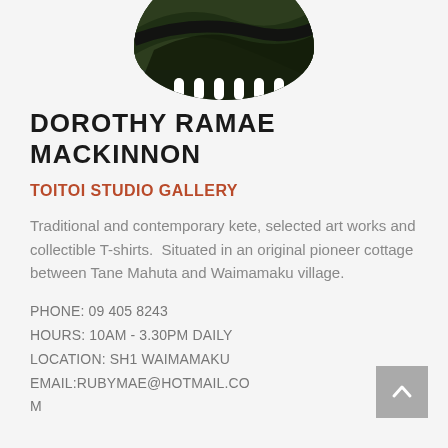[Figure (photo): Circular cropped aerial photo showing dark mossy or leafy landscape with white fence/structure elements visible at bottom]
DOROTHY RAMAE MACKINNON
TOITOI STUDIO GALLERY
Traditional and contemporary kete, selected art works and collectible T-shirts.  Situated in an original pioneer cottage between Tane Mahuta and Waimamaku village.
PHONE: 09 405 8243
HOURS: 10AM - 3.30PM DAILY
LOCATION: SH1 WAIMAMAKU
EMAIL:RUBYMAE@HOTMAIL.COM